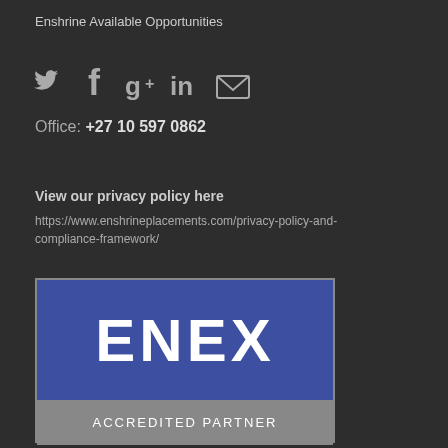Enshrine Available Opportunities
[Figure (infographic): Social media icons: Twitter, Facebook, Google+, LinkedIn, Email (envelope)]
Office: +27 10 597 0862
View our privacy policy here
https://www.enshrineplacements.com/privacy-policy-and-compliance-framework/
[Figure (logo): ENEX Accredited Partner badge with blue top section showing ENEX in large white bold letters and grey bottom section with ACCREDITED PARTNER text]